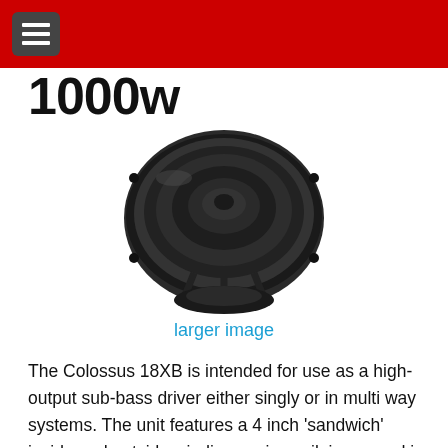1000w
[Figure (photo): Photo of a Colossus 18XB sub-bass speaker driver, viewed from above at a slight angle, showing the black cone and chassis.]
larger image
The Colossus 18XB is intended for use as a high-output sub-bass driver either singly or in multi way systems. The unit features a 4 inch 'sandwich' inside and outside windings voice coil, immersed in a symmetric magnetic field and centralized by using two suspensions in a dual arrangement to maintain ultra linearity and stability at high excursions. The heavily ribbed straight-sided paper cone